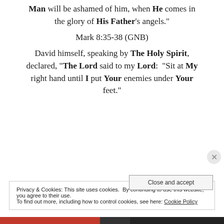Man will be ashamed of him, when He comes in the glory of His Father’s angels.”
Mark 8:35-38 (GNB)
David himself, speaking by The Holy Spirit, declared, “The Lord said to my Lord: “Sit at My right hand until I put Your enemies under Your feet.”
Privacy & Cookies: This site uses cookies. By continuing to use this website, you agree to their use.
To find out more, including how to control cookies, see here: Cookie Policy
Close and accept